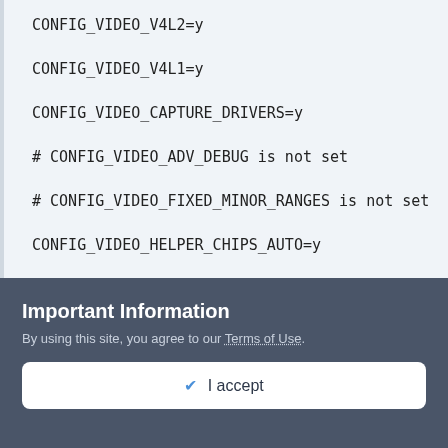CONFIG_VIDEO_V4L2=y
CONFIG_VIDEO_V4L1=y
CONFIG_VIDEO_CAPTURE_DRIVERS=y
# CONFIG_VIDEO_ADV_DEBUG is not set
# CONFIG_VIDEO_FIXED_MINOR_RANGES is not set
CONFIG_VIDEO_HELPER_CHIPS_AUTO=y
CONFIG_VIDEO_IR_I2C=y
# CONFIG_VIDEO_CPIA is not set
Important Information
By using this site, you agree to our Terms of Use.
✔ I accept